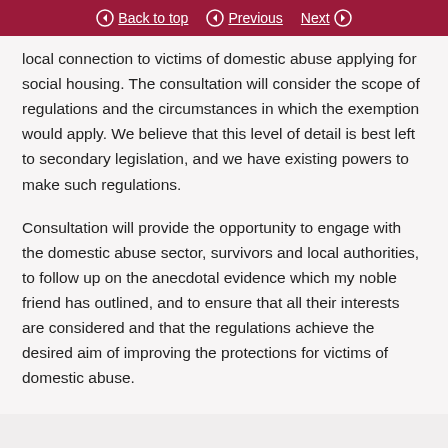Back to top | Previous | Next
local connection to victims of domestic abuse applying for social housing. The consultation will consider the scope of regulations and the circumstances in which the exemption would apply. We believe that this level of detail is best left to secondary legislation, and we have existing powers to make such regulations.
Consultation will provide the opportunity to engage with the domestic abuse sector, survivors and local authorities, to follow up on the anecdotal evidence which my noble friend has outlined, and to ensure that all their interests are considered and that the regulations achieve the desired aim of improving the protections for victims of domestic abuse.